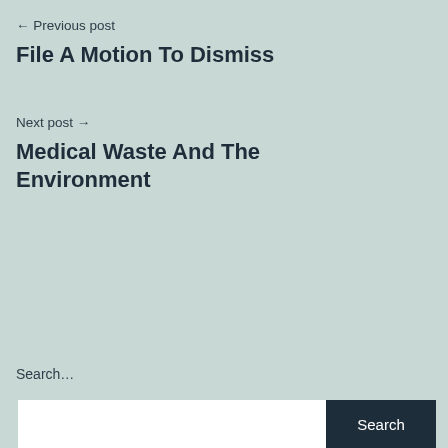← Previous post
File A Motion To Dismiss
Next post →
Medical Waste And The Environment
Search…
Search